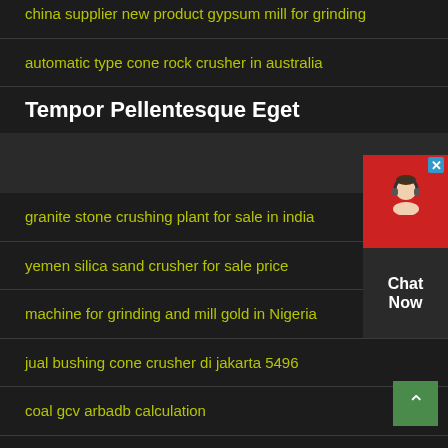china supplier new product gypsum mill for grinding
automatic type cone rock crusher in australia
Tempor Pellentesque Eget
granite stone crushing plant for sale in india
yemen silica sand crusher for sale price
machine for grinding and mill gold in Nigeria
jual bushing cone crusher di jakarta 5496
coal gcv arbadb calculation
crusher ranchi jharkhand
[Figure (infographic): Live chat widget with red background, headset icon, X close button, and 'Chat Now' label on dark lower half]